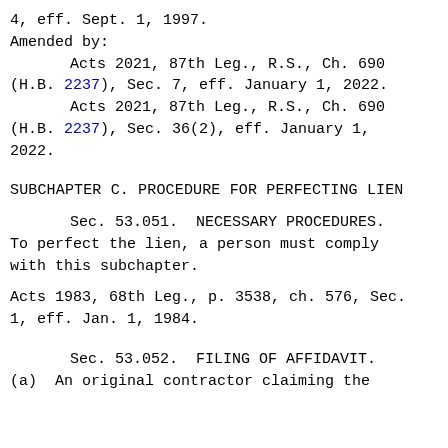4, eff. Sept. 1, 1997.
Amended by:
        Acts 2021, 87th Leg., R.S., Ch. 690 (H.B. 2237), Sec. 7, eff. January 1, 2022.
        Acts 2021, 87th Leg., R.S., Ch. 690 (H.B. 2237), Sec. 36(2), eff. January 1, 2022.
SUBCHAPTER C. PROCEDURE FOR PERFECTING LIEN
Sec. 53.051.  NECESSARY PROCEDURES. To perfect the lien, a person must comply with this subchapter.
Acts 1983, 68th Leg., p. 3538, ch. 576, Sec. 1, eff. Jan. 1, 1984.
Sec. 53.052.  FILING OF AFFIDAVIT. (a)  An original contractor claiming the